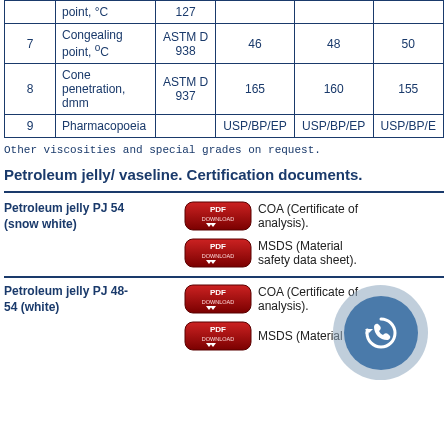| # | Property | Test Method | Col1 | Col2 | Col3 |
| --- | --- | --- | --- | --- | --- |
|  | point, °C | 127 |  |  |  |
| 7 | Congealing point, ºC | ASTM D 938 | 46 | 48 | 50 |
| 8 | Cone penetration, dmm | ASTM D 937 | 165 | 160 | 155 |
| 9 | Pharmacopoeia |  | USP/BP/EP | USP/BP/EP | USP/BP/EP |
Other viscosities and special grades on request.
Petroleum jelly/ vaseline. Certification documents.
Petroleum jelly PJ 54 (snow white)
COA (Certificate of analysis).
MSDS (Material safety data sheet).
Petroleum jelly PJ 48-54 (white)
COA (Certificate of analysis).
MSDS (Material
[Figure (other): Phone/contact circle icon overlay, blue circle with telephone handset symbol]